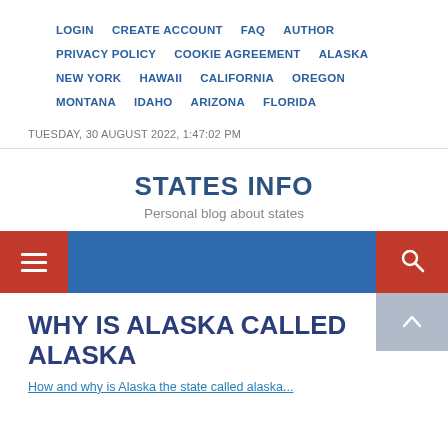LOGIN  CREATE ACCOUNT  FAQ  AUTHOR  PRIVACY POLICY  COOKIE AGREEMENT  ALASKA  NEW YORK  HAWAII  CALIFORNIA  OREGON  MONTANA  IDAHO  ARIZONA  FLORIDA
TUESDAY, 30 AUGUST 2022, 1:47:02 PM
STATES INFO
Personal blog about states
WHY IS ALASKA CALLED ALASKA
How and why is Alaska the state called...